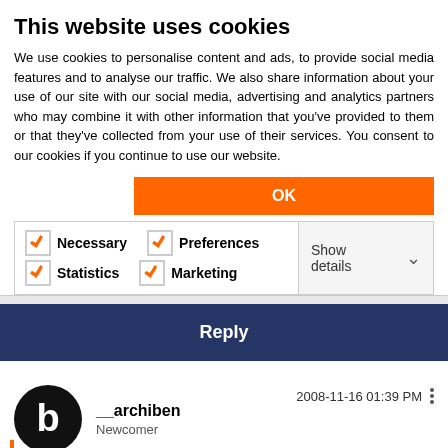This website uses cookies
We use cookies to personalise content and ads, to provide social media features and to analyse our traffic. We also share information about your use of our site with our social media, advertising and analytics partners who may combine it with other information that you've provided to them or that they've collected from your use of their services. You consent to our cookies if you continue to use our website.
OK
Necessary   Preferences   Statistics   Marketing   Show details
Reply
__archiben
Newcomer
2008-11-16 01:39 PM